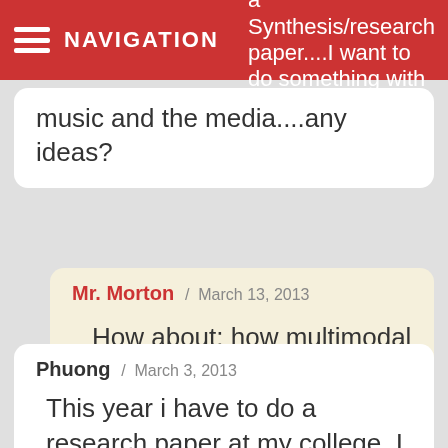NAVIGATION
a Synthesis/research paper....I want to do something with music and the media....any ideas?
Mr. Morton / March 13, 2013

How about: how multimodal literacy is affecting education?
Phuong / March 3, 2013

This year i have to do a research paper at my college. I have got an idea for this but